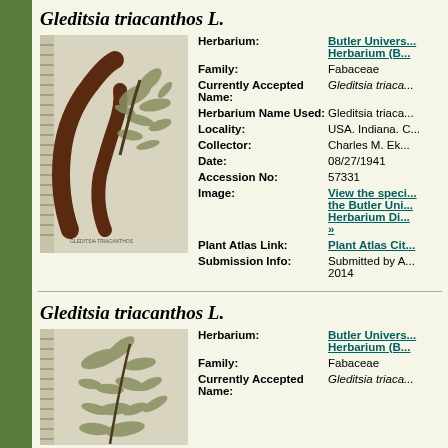Gleditsia triacanthos L.
[Figure (photo): Herbarium specimen photograph of Gleditsia triacanthos showing dried seed pods and compound leaves mounted on white paper with ruler]
Herbarium: Butler University Herbarium (B...
Family: Fabaceae
Currently Accepted Name: Gleditsia triaca...
Herbarium Name Used: Gleditsia triaca...
Locality: USA. Indiana. C...
Collector: Charles M. Ek...
Date: 08/27/1941
Accession No: 57331
Image: View the speci... the Butler Uni... Herbarium Di... »
Plant Atlas Link: Plant Atlas Cit...
Submission Info: Submitted by A... 2014
Gleditsia triacanthos L.
[Figure (photo): Herbarium specimen photograph of Gleditsia triacanthos showing dried compound leaves mounted on paper]
Herbarium: Butler University Herbarium (B...
Family: Fabaceae
Currently Accepted Name: Gleditsia triaca...